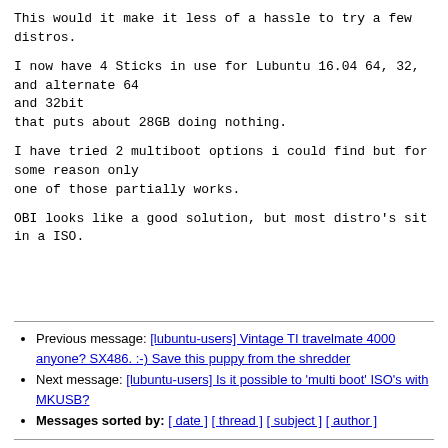This would it make it less of a hassle to try a few distros.
I now have 4 Sticks in use for Lubuntu 16.04 64, 32, and alternate 64
and 32bit
that puts about 28GB doing nothing.
I have tried 2 multiboot options i could find but for some reason only
one of those partially works.
OBI looks like a good solution, but most distro's sit
in a ISO.
Previous message: [lubuntu-users] Vintage TI travelmate 4000 anyone? SX486. :-) Save this puppy from the shredder
Next message: [lubuntu-users] Is it possible to 'multi boot' ISO's with MKUSB?
Messages sorted by: [ date ] [ thread ] [ subject ] [ author ]
More information about the Lubuntu-users mailing list